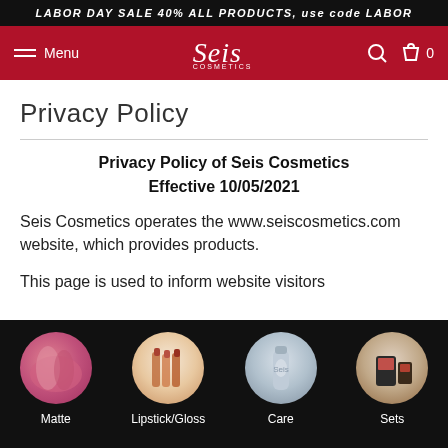LABOR DAY SALE 40% ALL PRODUCTS, use code LABOR
[Figure (screenshot): Seis Cosmetics website navigation bar with red background, hamburger menu, Seis logo, search icon, and shopping bag icon with 0]
Privacy Policy
Privacy Policy of Seis Cosmetics
Effective 10/05/2021
Seis Cosmetics operates the www.seiscosmetics.com website, which provides products.
This page is used to inform website visitors
[Figure (photo): Footer with four circular product category images on black background: Matte (pink nail/lip product), Lipstick/Gloss (lipstick tubes), Care (bottle), Sets (product set). Labels below each circle.]